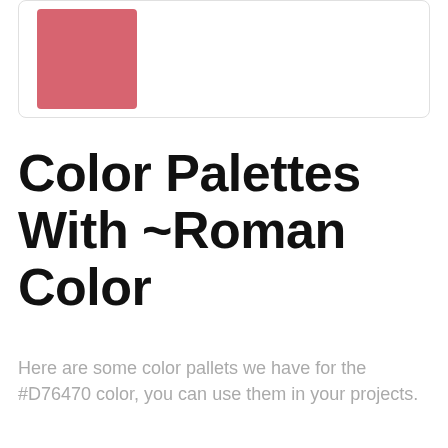[Figure (illustration): A rounded rectangle card with a terracotta/roman colored square swatch (#D76470) in the upper-left area]
Color Palettes With ~Roman Color
Here are some color pallets we have for the #D76470 color, you can use them in your projects.